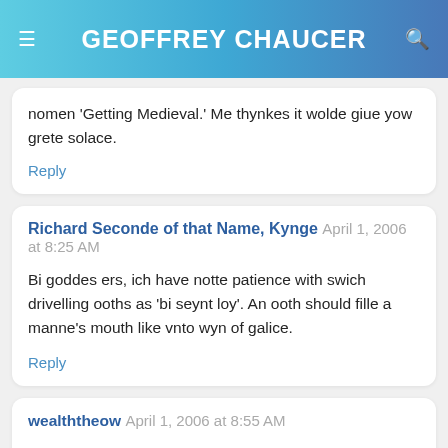GEOFFREY CHAUCER
nomen 'Getting Medieval.' Me thynkes it wolde giue yow grete solace.
Reply
Richard Seconde of that Name, Kynge  April 1, 2006 at 8:25 AM
Bi goddes ers, ich have notte patience with swich drivelling ooths as 'bi seynt loy'. An ooth should fille a manne's mouth like vnto wyn of galice.
Reply
wealththeow  April 1, 2006 at 8:55 AM
Best. Blog. Ever.